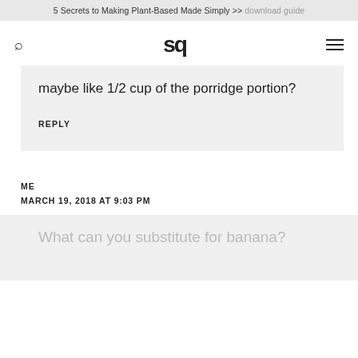5 Secrets to Making Plant-Based Made Simply >> download guide
sq
maybe like 1/2 cup of the porridge portion?
REPLY
ME
MARCH 19, 2018 AT 9:03 PM
What can you substitute for banana?